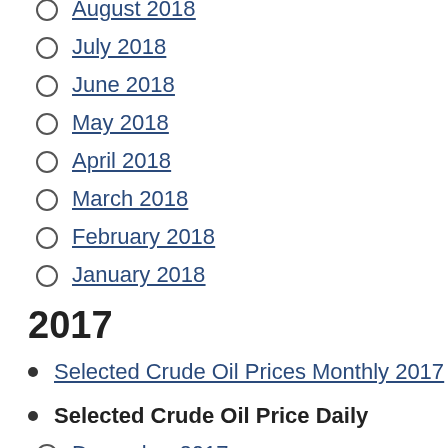August 2018
July 2018
June 2018
May 2018
April 2018
March 2018
February 2018
January 2018
2017
Selected Crude Oil Prices Monthly 2017
Selected Crude Oil Price Daily
December 2017